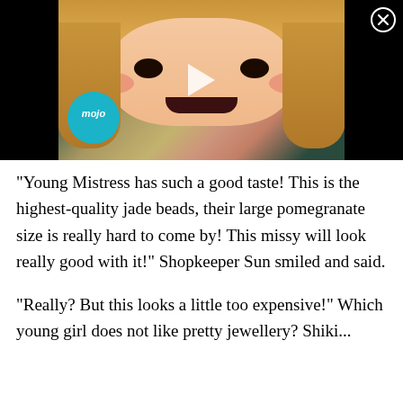[Figure (screenshot): Anime video player thumbnail showing a blonde anime girl with wide eyes and blushing cheeks. A play button triangle is overlaid in the center. The 'mojo' logo in a teal circle appears in the lower left of the video. A close (X) button is in the upper right corner. The background outside the video frame is black.]
“Young Mistress has such a good taste! This is the highest-quality jade beads, their large pomegranate size is really hard to come by! This missy will look really good with it!” Shopkeeper Sun smiled and said.
“Really? But this looks a little too expensive!” Which young girl does not like pretty jewellery? Shiki...